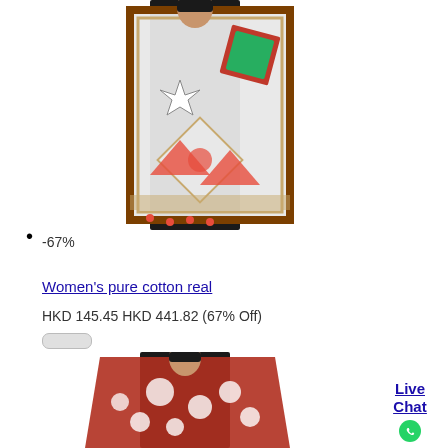[Figure (photo): Woman wearing a white dupatta with colorful embroidered patches and border]
Shop Now
-67%
Women's pure cotton real
HKD 145.45 HKD 441.82 (67% Off)
[Figure (photo): Woman wearing a red dupatta with white circular patterns]
Live Chat